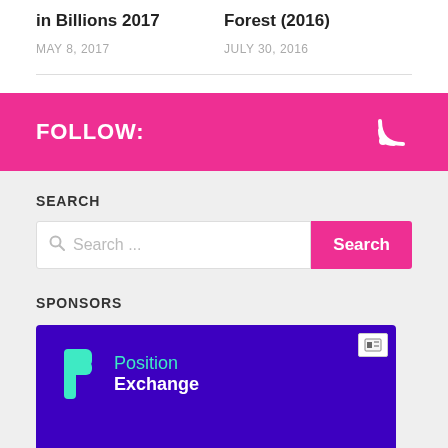in Billions 2017
MAY 8, 2017
Forest (2016)
JULY 30, 2016
FOLLOW:
SEARCH
SPONSORS
[Figure (screenshot): Position Exchange sponsor advertisement banner with purple background, teal P logo, and white/teal text]